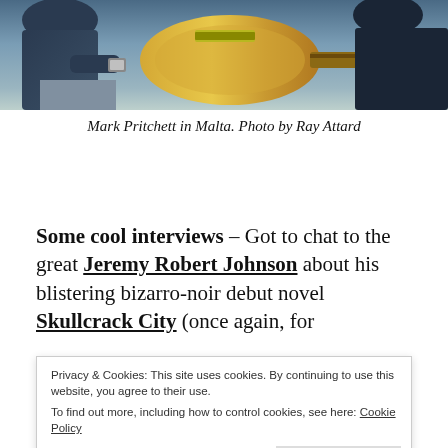[Figure (photo): Photo of Mark Pritchett holding a guitar in Malta]
Mark Pritchett in Malta. Photo by Ray Attard
Some cool interviews – Got to chat to the great Jeremy Robert Johnson about his blistering bizarro-noir debut novel Skullcrack City (once again, for
Privacy & Cookies: This site uses cookies. By continuing to use this website, you agree to their use.
To find out more, including how to control cookies, see here: Cookie Policy
Close and accept
Pritchett. It made for a curious afternoon, though as